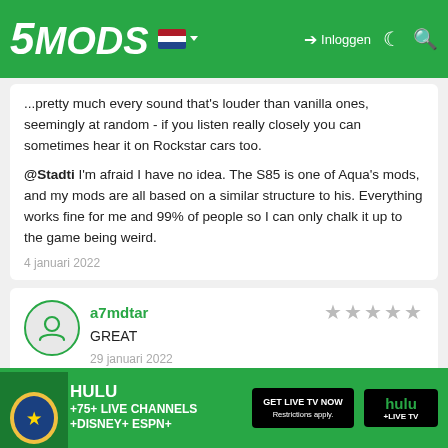5MODS — Inloggen navigation bar
...pretty much every sound that's louder than vanilla ones, seemingly at random - if you listen really closely you can sometimes hear it on Rockstar cars too.
@Stadti I'm afraid I have no idea. The S85 is one of Aqua's mods, and my mods are all based on a similar structure to his. Everything works fine for me and 99% of people so I can only chalk it up to the game being weird.
4 januari 2022
a7mdtar — GREAT — 29 januari 2022
RicardoT89988 — woow